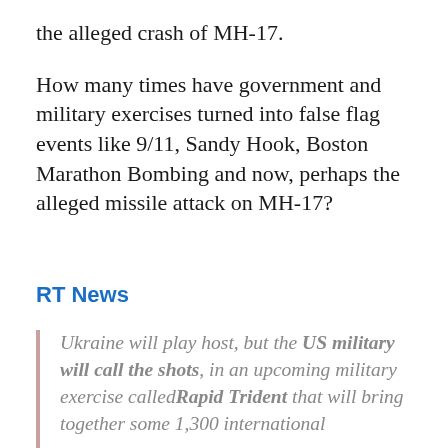the alleged crash of MH-17.
How many times have government and military exercises turned into false flag events like 9/11, Sandy Hook, Boston Marathon Bombing and now, perhaps the alleged missile attack on MH-17?
RT News
Ukraine will play host, but the US military will call the shots, in an upcoming military exercise calledRapid Trident that will bring together some 1,300 international forces in Ukraine for an upcoming...